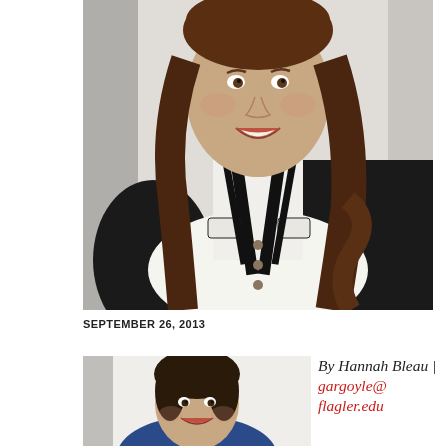[Figure (photo): Young woman with long curly brown hair, smiling, wearing a white top with a black cardigan, standing against a light background.]
SEPTEMBER 26, 2013
[Figure (photo): Young woman with dark hair pulled back, smiling, against a white background.]
By Hannah Bleau | gargoyle@flagler.edu